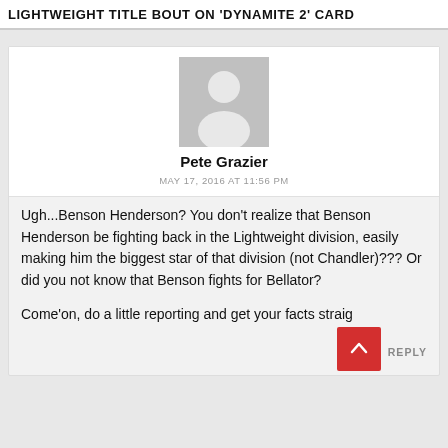LIGHTWEIGHT TITLE BOUT ON 'DYNAMITE 2' CARD
[Figure (illustration): Generic user avatar placeholder - grey square with white silhouette of a person]
Pete Grazier
MAY 17, 2016 AT 11:56 PM
Ugh...Benson Henderson? You don't realize that Benson Henderson be fighting back in the Lightweight division, easily making him the biggest star of that division (not Chandler)??? Or did you not know that Benson fights for Bellator?
Come'on, do a little reporting and get your facts straig...